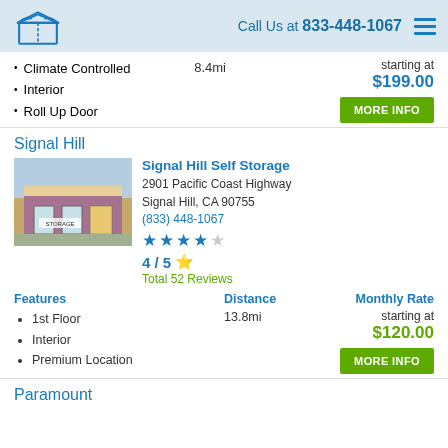Call Us at 833-448-1067
Climate Controlled
Interior
Roll Up Door
8.4mi
starting at $199.00
Signal Hill
Signal Hill Self Storage
2901 Pacific Coast Highway
Signal Hill, CA 90755
(833) 448-1067
4 / 5 ★
Total 52 Reviews
Features
1st Floor
Interior
Premium Location
Distance
13.8mi
Monthly Rate
starting at
$120.00
Paramount